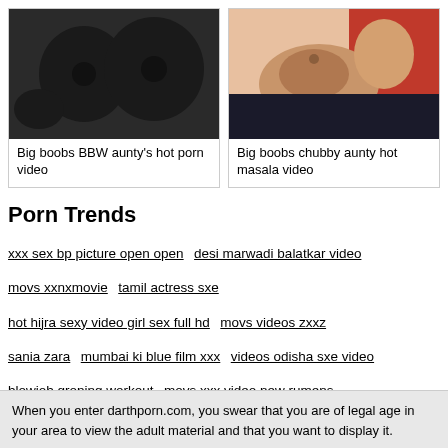[Figure (photo): Thumbnail image of BBW aunty adult content]
Big boobs BBW aunty's hot porn video
[Figure (photo): Thumbnail image of chubby aunty adult content]
Big boobs chubby aunty hot masala video
Porn Trends
xxx sex bp picture open open
desi marwadi balatkar video
movs xxnxmovie
tamil actress sxe
hot hijra sexy video girl sex full hd
movs videos zxxz
sania zara
mumbai ki blue film xxx
videos odisha sxe video
blowjob groping workout
movs xxx video new rumens
When you enter darthporn.com, you swear that you are of legal age in your area to view the adult material and that you want to display it.